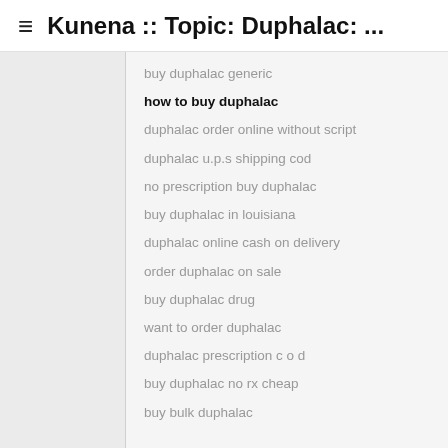≡ Kunena :: Topic: Duphalac: ...
buy duphalac generic
how to buy duphalac
duphalac order online without script
duphalac u.p.s shipping cod
no prescription buy duphalac
buy duphalac in louisiana
duphalac online cash on delivery
order duphalac on sale
buy duphalac drug
want to order duphalac
duphalac prescription c o d
buy duphalac no rx cheap
buy bulk duphalac